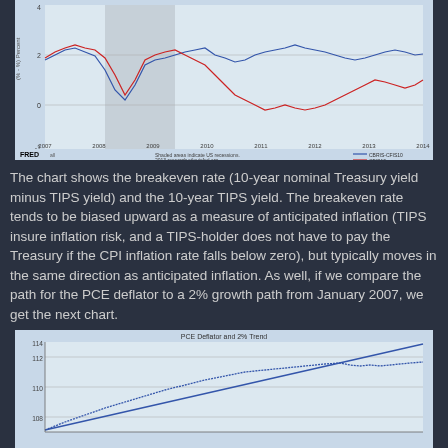[Figure (continuous-plot): FRED chart showing the 10-year breakeven rate (CBRIS-CFIS10, blue line) and the 10-year TIPS yield (CFIS10, red line) from 2007 to 2014. Shaded recession area visible around 2008-2009. Y-axis shows percent values roughly from -1 to 4.]
The chart shows the breakeven rate (10-year nominal Treasury yield minus TIPS yield) and the 10-year TIPS yield. The breakeven rate tends to be biased upward as a measure of anticipated inflation (TIPS insure inflation risk, and a TIPS-holder does not have to pay the Treasury if the CPI inflation rate falls below zero), but typically moves in the same direction as anticipated inflation. As well, if we compare the path for the PCE deflator to a 2% growth path from January 2007, we get the next chart.
[Figure (continuous-plot): Line chart titled 'PCE Deflator and 2% Trend' showing two lines from approximately 2007 onwards. Y-axis shows values from approximately 108 to 114. One line is a straight upward trend (2% path), the other is the actual PCE deflator.]